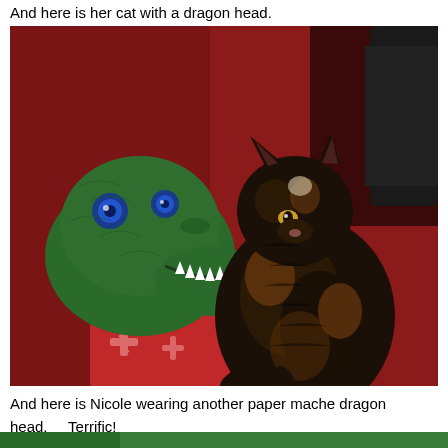And here is her cat with a dragon head.
[Figure (photo): A tortoiseshell cat sitting on a red fabric surface next to a green paper mache dragon head prop. The dragon head is open-mouthed showing white teeth and has blue eyes. The cat appears to be looking sideways. The background is red/dark.]
And here is Nicole wearing another paper mache dragon head.     Terrific!
[Figure (photo): Partial view of another image at the bottom of the page showing green coloring, likely another dragon head photo.]